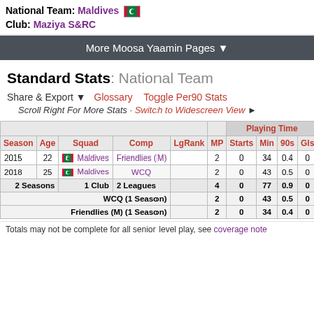National Team: Maldives [flag] Club: Maziya S&RC
More Moosa Yaamin Pages ▼
Standard Stats: National Team
Share & Export ▼   Glossary   Toggle Per90 Stats
Scroll Right For More Stats · Switch to Widescreen View ►
| Season | Age | Squad | Comp | LgRank | MP | Starts | Min | 90s | Gls |
| --- | --- | --- | --- | --- | --- | --- | --- | --- | --- |
| 2015 | 22 | Maldives | Friendlies (M) |  | 2 | 0 | 34 | 0.4 | 0 |
| 2018 | 25 | Maldives | WCQ |  | 2 | 0 | 43 | 0.5 | 0 |
| 2 Seasons |  | 1 Club | 2 Leagues |  | 4 | 0 | 77 | 0.9 | 0 |
| WCQ (1 Season) |  |  |  |  | 2 | 0 | 43 | 0.5 | 0 |
| Friendlies (M) (1 Season) |  |  |  |  | 2 | 0 | 34 | 0.4 | 0 |
Totals may not be complete for all senior level play, see coverage note